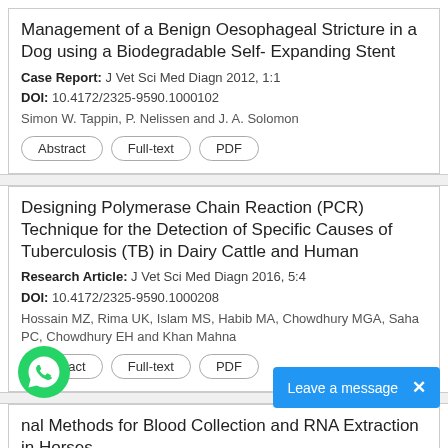Management of a Benign Oesophageal Stricture in a Dog using a Biodegradable Self- Expanding Stent
Case Report: J Vet Sci Med Diagn 2012, 1:1
DOI: 10.4172/2325-9590.1000102
Simon W. Tappin, P. Nelissen and J. A. Solomon
Abstract | Full-text | PDF
Designing Polymerase Chain Reaction (PCR) Technique for the Detection of Specific Causes of Tuberculosis (TB) in Dairy Cattle and Human
Research Article: J Vet Sci Med Diagn 2016, 5:4
DOI: 10.4172/2325-9590.1000208
Hossain MZ, Rima UK, Islam MS, Habib MA, Chowdhury MGA, Saha PC, Chowdhury EH and Khan Mahna
Abstract | Full-text | PDF
...nal Methods for Blood Collection and RNA Extraction in Horses
Research Article: J Vet Sci Med Dia...